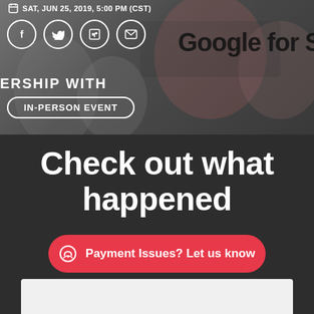[Figure (screenshot): Top banner section with blurred event photo background showing social sharing icons (Facebook, Twitter, LinkedIn, Email), partial text 'ERSHIP WITH Google for S', date bar 'SAT, JUN 25, 2019, 5:00 PM (CST)', and an IN-PERSON EVENT badge button]
Check out what happened
Payment Issues? Let us know
[Figure (screenshot): Bottom white preview box area]